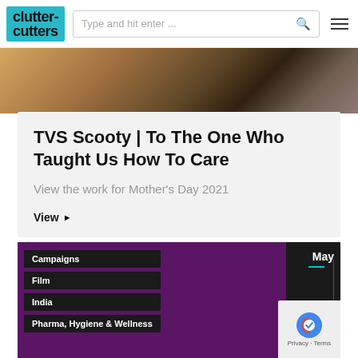clutter cutters — Type and hit enter ...
[Figure (photo): Partial photo showing hands and patterned fabric, top of article card]
TVS Scooty | To The One Who Taught Us How To Care
View the work for Mother's Day 2021
View ▶
Campaigns
Film
India
Pharma, Hygiene & Wellness
May